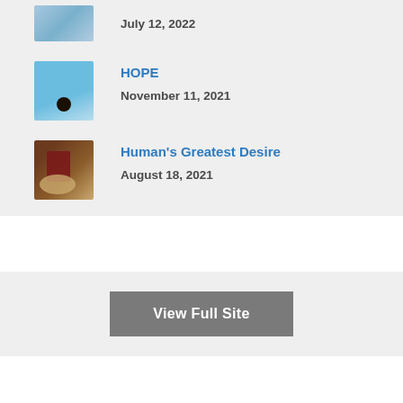July 12, 2022
HOPE
November 11, 2021
Human's Greatest Desire
August 18, 2021
View Full Site